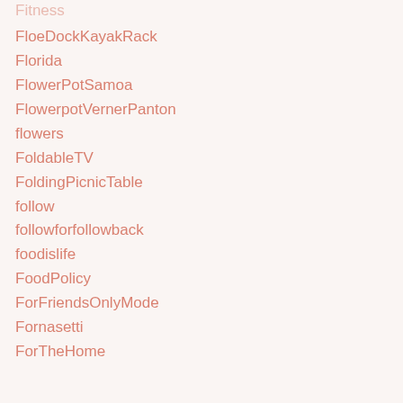FloeDockKayakRack
Florida
FlowerPotSamoa
FlowerpotVernerPanton
flowers
FoldableTV
FoldingPicnicTable
follow
followforfollowback
foodislife
FoodPolicy
ForFriendsOnlyMode
Fornasetti
ForTheHome